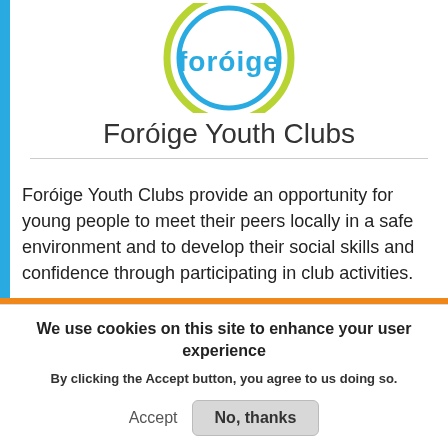[Figure (logo): Foróige logo — partial view showing circular logo with 'foróige' text in blue and a yellow-green circle outline]
Foróige Youth Clubs
Foróige Youth Clubs provide an opportunity for young people to meet their peers locally in a safe environment and to develop their social skills and confidence through participating in club activities.
We use cookies on this site to enhance your user experience
By clicking the Accept button, you agree to us doing so.
Accept   No, thanks